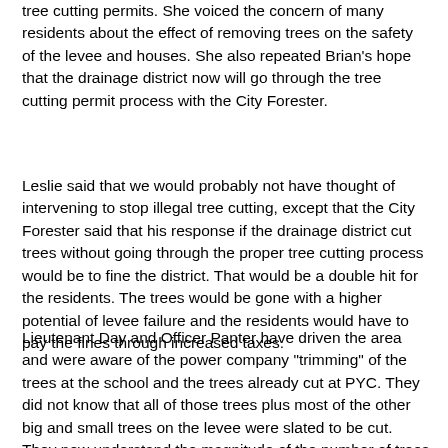tree cutting permits. She voiced the concern of many residents about the effect of removing trees on the safety of the levee and houses. She also repeated Brian's hope that the drainage district now will go through the tree cutting permit process with the City Forester.
Leslie said that we would probably not have thought of intervening to stop illegal tree cutting, except that the City Forester said that his response if the drainage district cut trees without going through the proper tree cutting process would be to fine the district. That would be a double hit for the residents. The trees would be gone with a higher potential of levee failure and the residents would have to pay the fines through increased taxes.
Lieutenant Day and Officer Panter have driven the area and were aware of the power company "trimming" of the trees at the school and the trees already cut at PYC. They did not know that all of those trees plus most of the other big and small trees on the levee were slated to be cut. They now understand the magnitude of the number of trees slated to be cut and our concerns for the safety of the levee.